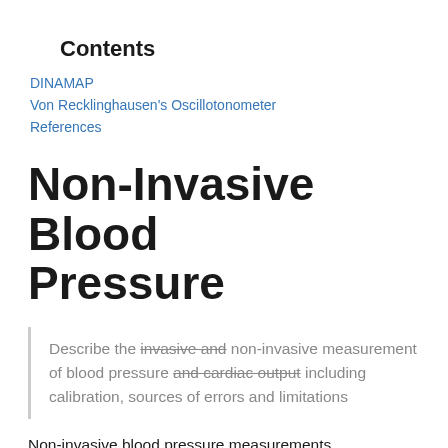Contents
DINAMAP
Von Recklinghausen's Oscillotonometer
References
Non-Invasive Blood Pressure
Describe the invasive and non-invasive measurement of blood pressure and cardiac output including calibration, sources of errors and limitations
Non-invasive blood pressure measurements